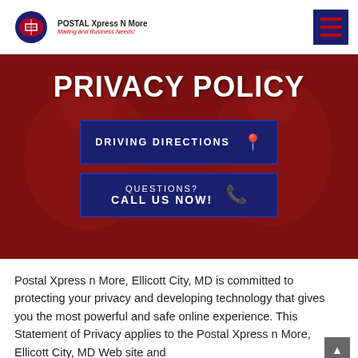POSTAL Xpress N More — Mailing and Business Needs!
PRIVACY POLICY
DRIVING DIRECTIONS
QUESTIONS? CALL US NOW!
Postal Xpress n More, Ellicott City, MD is committed to protecting your privacy and developing technology that gives you the most powerful and safe online experience. This Statement of Privacy applies to the Postal Xpress n More, Ellicott City, MD Web site and